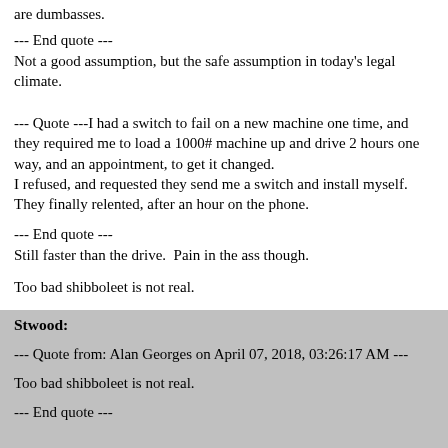are dumbasses.
--- End quote ---
Not a good assumption, but the safe assumption in today's legal climate.
--- Quote ---I had a switch to fail on a new machine one time, and they required me to load a 1000# machine up and drive 2 hours one way, and an appointment, to get it changed.
I refused, and requested they send me a switch and install myself.
They finally relented, after an hour on the phone.
--- End quote ---
Still faster than the drive.  Pain in the ass though.
Too bad shibboleet is not real.
Stwood:
--- Quote from: Alan Georges on April 07, 2018, 03:26:17 AM ---
Too bad shibboleet is not real.
--- End quote ---